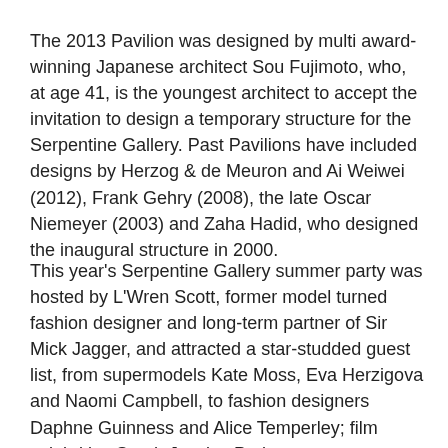The 2013 Pavilion was designed by multi award-winning Japanese architect Sou Fujimoto, who, at age 41, is the youngest architect to accept the invitation to design a temporary structure for the Serpentine Gallery. Past Pavilions have included designs by Herzog & de Meuron and Ai Weiwei (2012), Frank Gehry (2008), the late Oscar Niemeyer (2003) and Zaha Hadid, who designed the inaugural structure in 2000.
This year's Serpentine Gallery summer party was hosted by L'Wren Scott, former model turned fashion designer and long-term partner of Sir Mick Jagger, and attracted a star-studded guest list, from supermodels Kate Moss, Eva Herzigova and Naomi Campbell, to fashion designers Daphne Guinness and Alice Temperley; film celebrities Sarah Jessica Parker,